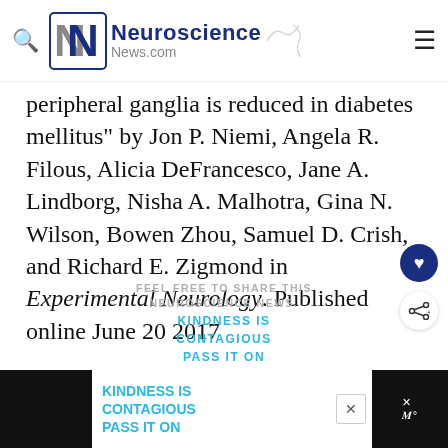Neuroscience News.com
peripheral ganglia is reduced in diabetes mellitus" by Jon P. Niemi, Angela R. Filous, Alicia DeFrancesco, Jane A. Lindborg, Nisha A. Malhotra, Gina N. Wilson, Bowen Zhou, Samuel D. Crish, and Richard E. Zigmond in Experimental Neurology. Published online June 20 2017 doi:10.1016/j.expneurol.2017.06.020
FEEL FREE TO SHARE THIS
NEUROSCIENCE NEWS.
KINDNESS IS CONTAGIOUS
PASS IT ON